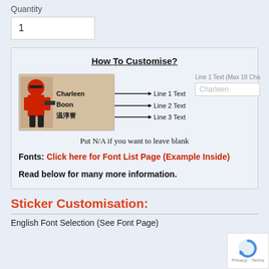Quantity
1
[Figure (infographic): How To Customise diagram showing a ninja sticker label with lines pointing to Line 1 Text (Charleen), Line 2 Text (Boon), Line 3 Text (Chinese characters). Includes text input field labeled 'Line 1 Text (Max 18 Ch...)' with placeholder 'Charleen'. Below: 'Put N/A if you want to leave blank'. Fonts: Click here for Font List Page (Example Inside). Read below for many more information.]
Sticker Customisation:
English Font Selection (See Font Page)